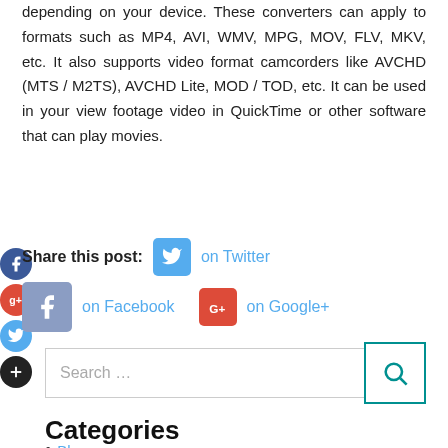depending on your device. These converters can apply to formats such as MP4, AVI, WMV, MPG, MOV, FLV, MKV, etc. It also supports video format camcorders like AVCHD (MTS / M2TS), AVCHD Lite, MOD / TOD, etc. It can be used in your view footage video in QuickTime or other software that can play movies.
Share this post: on Twitter on Facebook on Google+
Search ...
Categories
Blog